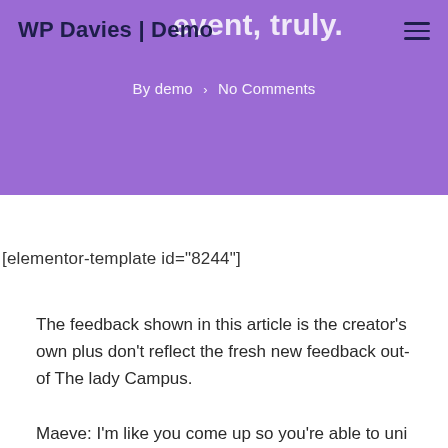WP Davies | Demo
event, truly.
By demo > No Comments
[elementor-template id="8244"]
The feedback shown in this article is the creator’s own plus don’t reflect the fresh new feedback out-of The lady Campus.
Maeve: I’m like you come up so you’re able to uni